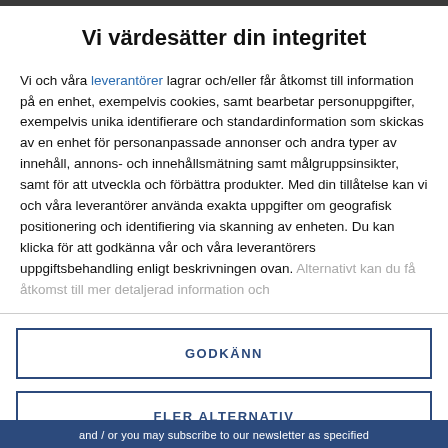Vi värdesätter din integritet
Vi och våra leverantörer lagrar och/eller får åtkomst till information på en enhet, exempelvis cookies, samt bearbetar personuppgifter, exempelvis unika identifierare och standardinformation som skickas av en enhet för personanpassade annonser och andra typer av innehåll, annons- och innehållsmätning samt målgruppsinsikter, samt för att utveckla och förbättra produkter. Med din tillåtelse kan vi och våra leverantörer använda exakta uppgifter om geografisk positionering och identifiering via skanning av enheten. Du kan klicka för att godkänna vår och våra leverantörers uppgiftsbehandling enligt beskrivningen ovan. Alternativt kan du få åtkomst till mer detaljerad information och
GODKÄNN
FLER ALTERNATIV
and / or you may subscribe to our newsletter as specified